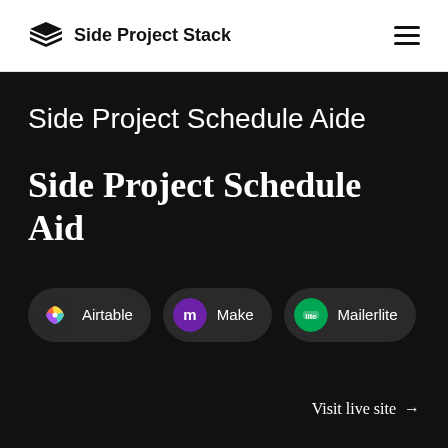Side Project Stack
Side Project Schedule Aide
Side Project Schedule Aid
Airtable
Make
Mailerlite
Visit live site →